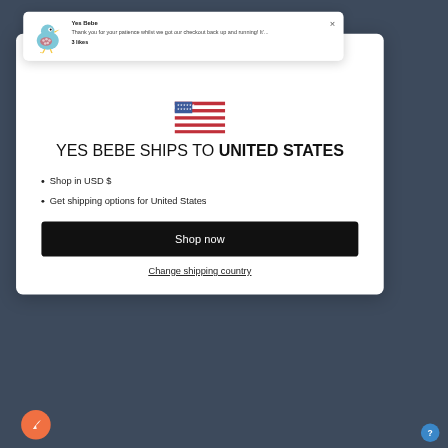[Figure (screenshot): Notification popup with bird logo for Yes Bebe]
Yes Bebe
Thank you for your patience whilst we got our checkout back up and running! It'...
3 likes
[Figure (illustration): American flag icon simplified with stars and red/white stripes]
YES BEBE SHIPS TO UNITED STATES
Shop in USD $
Get shipping options for United States
Shop now
Change shipping country